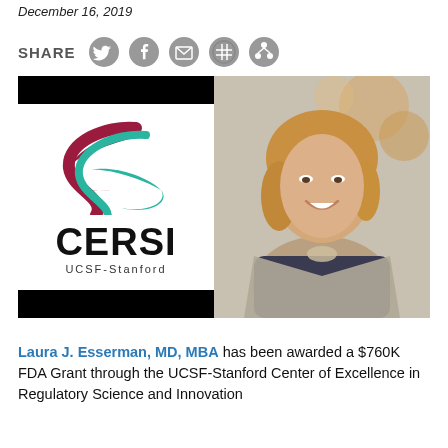December 16, 2019
[Figure (infographic): Social media share icons: Twitter, Facebook, Email, RSS, and another sharing icon, preceded by SHARE label]
[Figure (logo): CERSI UCSF-Stanford logo with stylized S-curve in crimson and teal on white background, with black bars at top and bottom. Adjacent photo of Laura J. Esserman, MD, MBA - a woman with blonde hair smiling, wearing a gray cardigan and necklace.]
Laura J. Esserman, MD, MBA has been awarded a $760K FDA Grant through the UCSF-Stanford Center of Excellence in Regulatory Science and Innovation